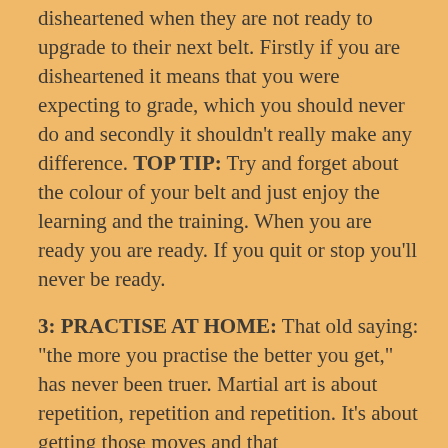disheartened when they are not ready to upgrade to their next belt. Firstly if you are disheartened it means that you were expecting to grade, which you should never do and secondly it shouldn't really make any difference. TOP TIP: Try and forget about the colour of your belt and just enjoy the learning and the training. When you are ready you are ready. If you quit or stop you'll never be ready.
3: PRACTISE AT HOME: That old saying: "the more you practise the better you get," has never been truer. Martial art is about repetition, repetition and repetition. It's about getting those moves and that